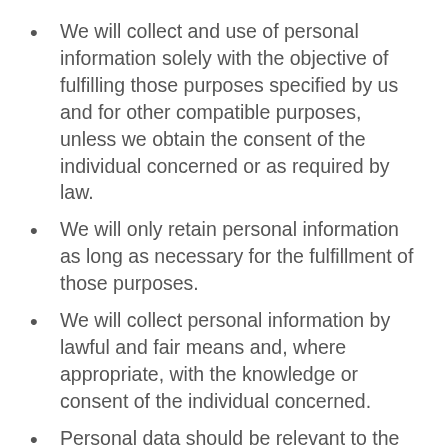We will collect and use of personal information solely with the objective of fulfilling those purposes specified by us and for other compatible purposes, unless we obtain the consent of the individual concerned or as required by law.
We will only retain personal information as long as necessary for the fulfillment of those purposes.
We will collect personal information by lawful and fair means and, where appropriate, with the knowledge or consent of the individual concerned.
Personal data should be relevant to the purposes for which it is to be used, and, to the extent necessary for those purposes, should be accurate, complete, and up-to-